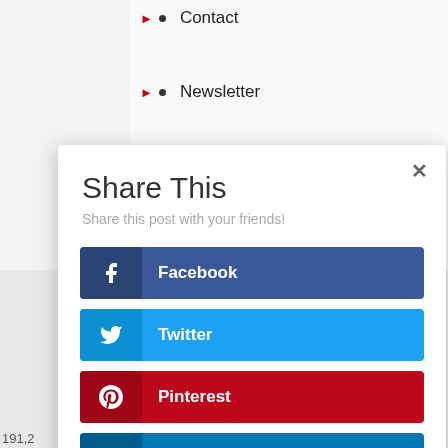Contact
Newsletter
Privacy Policy
Share This
Share this post with your friends!
Facebook
Twitter
Pinterest
LinkedIn
191,2